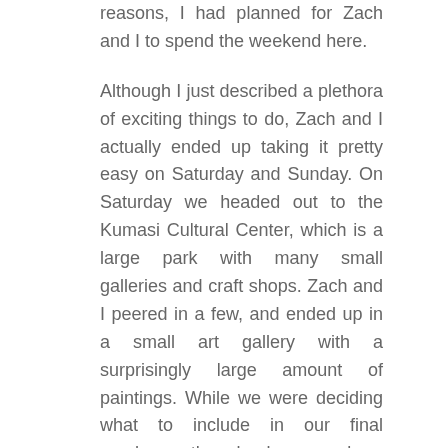reasons, I had planned for Zach and I to spend the weekend here.
Although I just described a plethora of exciting things to do, Zach and I actually ended up taking it pretty easy on Saturday and Sunday. On Saturday we headed out to the Kumasi Cultural Center, which is a large park with many small galleries and craft shops. Zach and I peered in a few, and ended up in a small art gallery with a surprisingly large amount of paintings. While we were deciding what to include in our final purchase, the clouds opened up and rain poured out. It was the first rain we've seen in Ghana since we arrived. Zach welcomed the relief from the heat. When the rain eased up, we jumped into a cab.
As we were heading out of the cultural center, we passed a giant funeral. We were told that it was the funeral of a famous Ghanaian actor, Eric Asante. There must have been thousands of people bustling about. Our taxi driver even pointed out a few other Ghanaian celebrities we'd